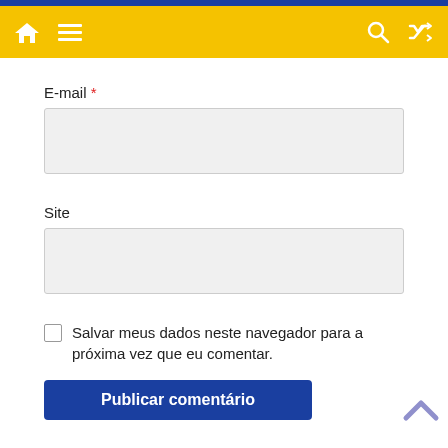Navigation bar with home, menu, search, and shuffle icons on yellow background
E-mail *
[Figure (other): Text input field for E-mail]
Site
[Figure (other): Text input field for Site]
Salvar meus dados neste navegador para a próxima vez que eu comentar.
Publicar comentário